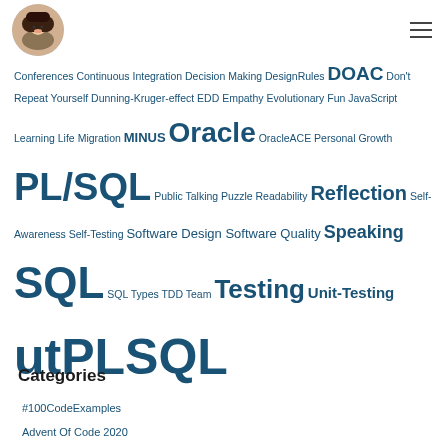[Logo/avatar image] [Hamburger menu icon]
Conferences Continuous Integration Decision Making DesignRules DOAC Don't Repeat Yourself Dunning-Kruger-effect EDD Empathy Evolutionary Fun JavaScript Learning Life Migration MINUS Oracle OracleACE Personal Growth PL/SQL Public Talking Puzzle Readability Reflection Self-Awareness Self-Testing Software Design Software Quality Speaking SQL SQL Types TDD Team Testing Unit-Testing utPLSQL
Categories
#100CodeExamples
Advent Of Code 2020